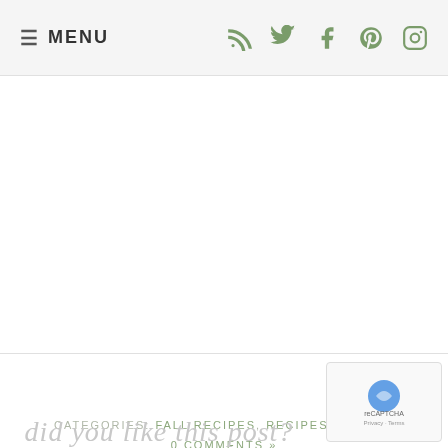≡ MENU
CATEGORIES: FALL RECIPES, RECIPES, SALADS
0 COMMENTS »
did you like this post?